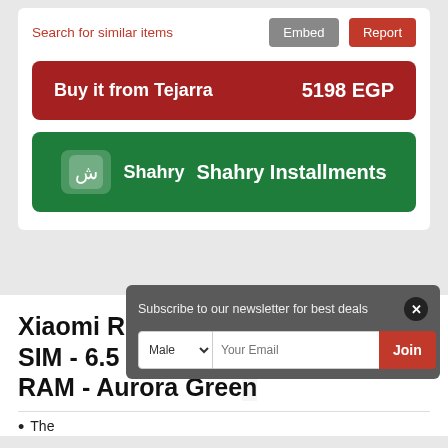Search for similar items
Embed  Report
Buy it from Tejarra   5198 EGP
[Figure (logo): Shahry Installments green button with Shahry logo icon]
Xiaomi Redmi Note 10 5G Dual SIM - 6.5 Inches, 128 GB, 6 GB RAM - Aurora Green
The...
Subscribe to our newsletter for best deals  [close]  Male  Your Email  Join